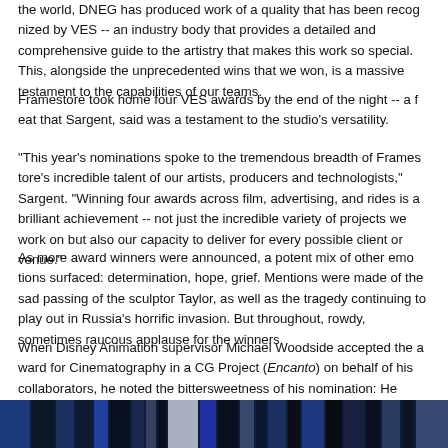the world, DNEG has produced work of a quality that has been recognized by VES -- an industry body that provides a detailed and comprehensive guide to the artistry that makes this work so special. This, alongside the unprecedented wins that we won, is a massive testament to the capabilities of our teams.
Framestore took home four VES awards by the end of the night -- a feat that Sargent, said was a testament to the studio's versatility.
“This year’s nominations spoke to the tremendous breadth of Framestore’s incredible talent of our artists, producers and technologists,” Sargent. “Winning four awards across film, advertising, and rides is a brilliant achievement -- not just the incredible variety of projects we work on but also our capacity to deliver for every possible client or venue.”
As more award winners were announced, a potent mix of other emotions surfaced: determination, hope, grief. Mentions were made of the sad passing of the sculptor Taylor, as well as the tragedy continuing to play out in Russia’s horrific invasion. But throughout, rowdy, sometimes raucous applause for the winners.
When Disney Animation supervisor Michael Woodside accepted the award for Cinematography in a CG Project (Encanto) on behalf of his collaborators, he noted the bittersweetness of his nomination: He found out about it on the same day Taylor passed away.
[Figure (photo): Bottom strip showing a dark blue and grey image, likely from a VES awards event or related production work.]